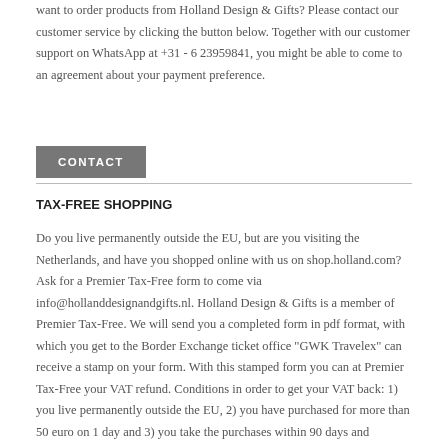want to order products from Holland Design & Gifts? Please contact our customer service by clicking the button below. Together with our customer support on WhatsApp at +31 - 6 23959841, you might be able to come to an agreement about your payment preference.
CONTACT
TAX-FREE SHOPPING
Do you live permanently outside the EU, but are you visiting the Netherlands, and have you shopped online with us on shop.holland.com? Ask for a Premier Tax-Free form to come via info@hollanddesignandgifts.nl. Holland Design & Gifts is a member of Premier Tax-Free. We will send you a completed form in pdf format, with which you get to the Border Exchange ticket office "GWK Travelex" can receive a stamp on your form. With this stamped form you can at Premier Tax-Free your VAT refund. Conditions in order to get your VAT back: 1) you live permanently outside the EU, 2) you have purchased for more than 50 euro on 1 day and 3) you take the purchases within 90 days and